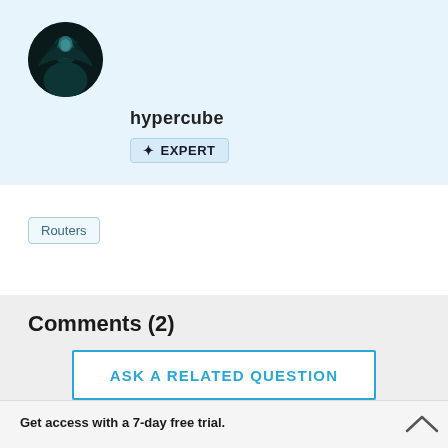[Figure (photo): Circular avatar image of a person wearing a hood, dark teal/green color scheme]
hypercube
✦ EXPERT
Routers
Comments (2)
ASK A RELATED QUESTION
Get access with a 7-day free trial.